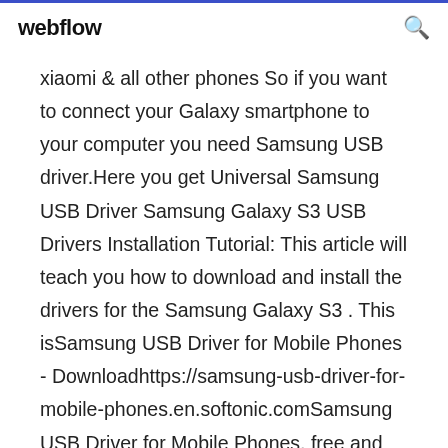webflow
xiaomi & all other phones So if you want to connect your Galaxy smartphone to your computer you need Samsung USB driver.Here you get Universal Samsung USB Driver Samsung Galaxy S3 USB Drivers Installation Tutorial: This article will teach you how to download and install the drivers for the Samsung Galaxy S3 . This isSamsung USB Driver for Mobile Phones - Downloadhttps://samsung-usb-driver-for-mobile-phones.en.softonic.comSamsung USB Driver for Mobile Phones, free and safe download. Samsung USB Driver for Mobile Phones latest version: Free driver for app development. Samsung USB Driver for Mobile